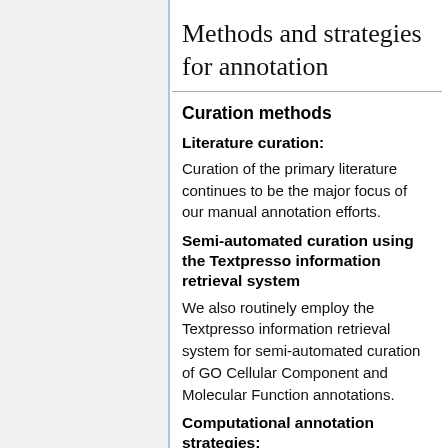Methods and strategies for annotation
Curation methods
Literature curation:
Curation of the primary literature continues to be the major focus of our manual annotation efforts.
Semi-automated curation using the Textpresso information retrieval system
We also routinely employ the Textpresso information retrieval system for semi-automated curation of GO Cellular Component and Molecular Function annotations.
Computational annotation strategies: